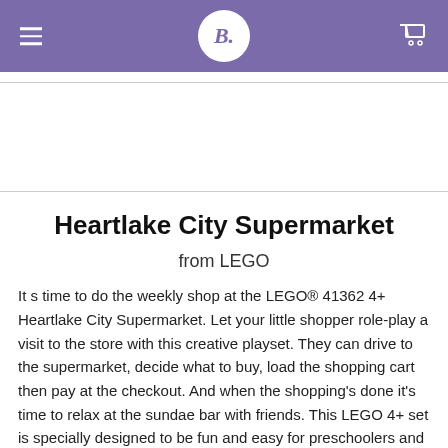B.
[Figure (other): Advertisement/banner area (blank white space between two horizontal dividers)]
Heartlake City Supermarket
from LEGO
It s time to do the weekly shop at the LEGO® 41362 4+ Heartlake City Supermarket. Let your little shopper role-play a visit to the store with this creative playset. They can drive to the supermarket, decide what to buy, load the shopping cart then pay at the checkout. And when the shopping's done it's time to relax at the sundae bar with friends. This LEGO 4+ set is specially designed to be fun and easy for preschoolers and